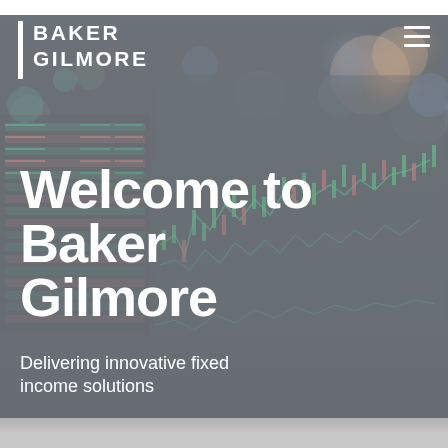[Figure (screenshot): Dark background showing blurred financial trading screens with green candlestick charts, data tables, and colored bokeh lights (orange, teal, blue) — a financial trading terminal/monitor visible in the background]
BAKER GILMORE
Welcome to Baker Gilmore
Delivering innovative fixed income solutions